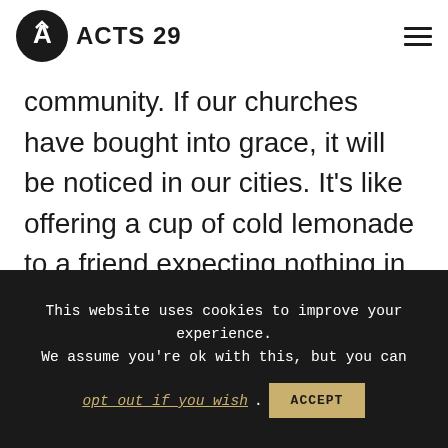ACTS 29
community. If our churches have bought into grace, it will be noticed in our cities. It's like offering a cup of cold lemonade to a friend expecting nothing in return. People will see it. They might not know how to react, but they won't be able to ignore it.
This website uses cookies to improve your experience. We assume you're ok with this, but you can opt out if you wish. ACCEPT